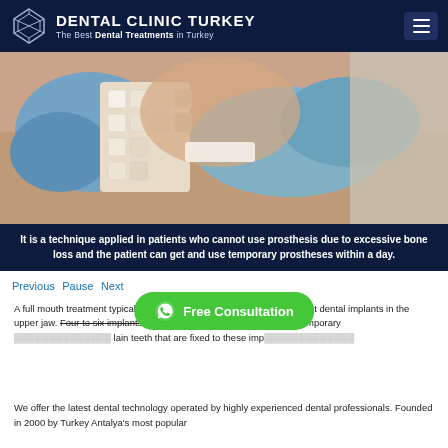DENTAL CLINIC TURKEY — The Best Dental Treatments in Turkey
[Figure (photo): Dental professional in blue gloves holding a dental shade guide up to a patient's mouth]
It is a technique applied in patients who cannot use prosthesis due to excessive bone loss and the patient can get and use temporary prostheses within a day.
Previous Pause Next
A full mouth treatment typically consists of: The placement of six to eight dental implants in the upper jaw. Four to six implants in the lower jaw. Fabrication of fixed temporary ... plain teeth that are fixed to these imp...
[Figure (other): Green Free Consultation WhatsApp button overlay]
We offer the latest dental technology operated by highly experienced dental professionals. Founded in 2000 by Turkey Antalya's most popular dentist...